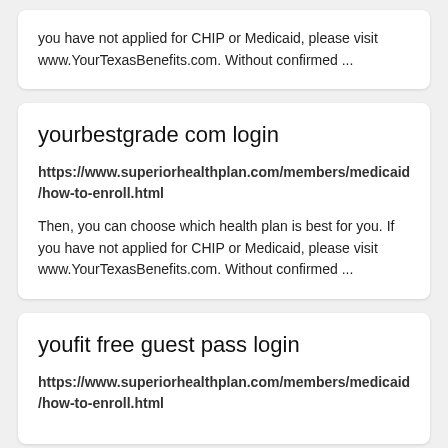you have not applied for CHIP or Medicaid, please visit www.YourTexasBenefits.com. Without confirmed ...
yourbestgrade com login
https://www.superiorhealthplan.com/members/medicaid/how-to-enroll.html
Then, you can choose which health plan is best for you. If you have not applied for CHIP or Medicaid, please visit www.YourTexasBenefits.com. Without confirmed ...
youfit free guest pass login
https://www.superiorhealthplan.com/members/medicaid/how-to-enroll.html